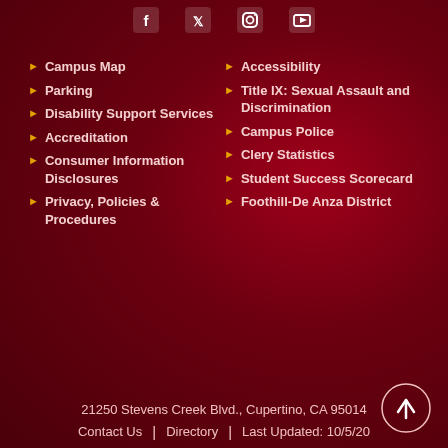[Figure (infographic): Social media icons row: Facebook, Twitter, Instagram, YouTube]
Campus Map
Parking
Disability Support Services
Accreditation
Consumer Information Disclosures
Privacy, Policies & Procedures
Accessibility
Title IX: Sexual Assault and Discrimination
Campus Police
Clery Statistics
Student Success Scorecard
Foothill-De Anza District
21250 Stevens Creek Blvd., Cupertino, CA 95014
Contact Us | Directory | Last Updated: 10/5/20